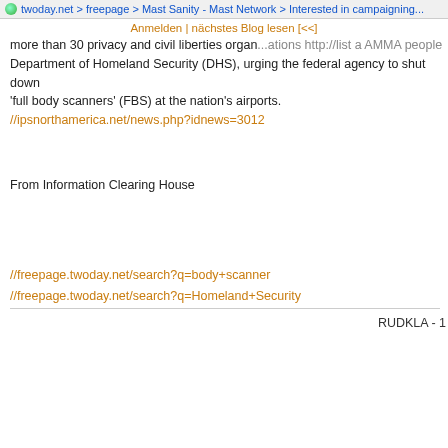twoday.net > freepage > Mast Sanity - Mast Network > Interested in campaigning...
Anmelden | nächstes Blog lesen [<<]
more than 30 privacy and civil liberties organizations http://list a AMMA people Department of Homeland Security (DHS), urging the federal agency to shut down 'full body scanners' (FBS) at the nation's airports.
//ipsnorthamerica.net/news.php?idnews=3012
From Information Clearing House
//freepage.twoday.net/search?q=body+scanner
//freepage.twoday.net/search?q=Homeland+Security
RUDKLA - 1